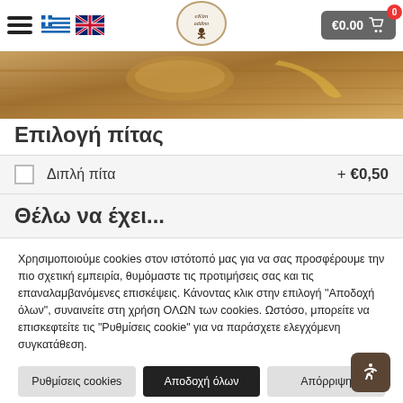Navigation bar with hamburger menu, Greek and UK flags, logo, and cart showing €0.00
[Figure (photo): Hero banner image showing food on a wooden surface (pita/bread ingredients)]
Επιλογή πίτας
Διπλή πίτα  + €0,50
Θέλω να έχει...
Χρησιμοποιούμε cookies στον ιστότοπό μας για να σας προσφέρουμε την πιο σχετική εμπειρία, θυμόμαστε τις προτιμήσεις σας και τις επαναλαμβανόμενες επισκέψεις. Κάνοντας κλικ στην επιλογή "Αποδοχή όλων", συναινείτε στη χρήση ΟΛΩΝ των cookies. Ωστόσο, μπορείτε να επισκεφτείτε τις "Ρυθμίσεις cookie" για να παράσχετε ελεγχόμενη συγκατάθεση.
Ρυθμίσεις cookies
Αποδοχή όλων
Απόρριψη